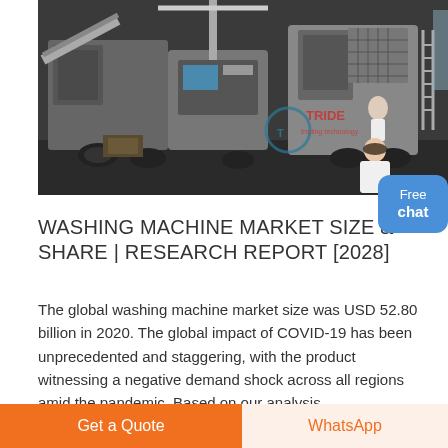[Figure (photo): Industrial machinery/crushing equipment in a factory or quarry setting, with heavy gray machines on a dark background. A watermark logo 'TRIDE trading technology' appears in the center-right area.]
WASHING MACHINE MARKET SIZE & SHARE | RESEARCH REPORT [2028]
The global washing machine market size was USD 52.80 billion in 2020. The global impact of COVID-19 has been unprecedented and staggering, with the product witnessing a negative demand shock across all regions amid the pandemic. Based on our analysis, ...